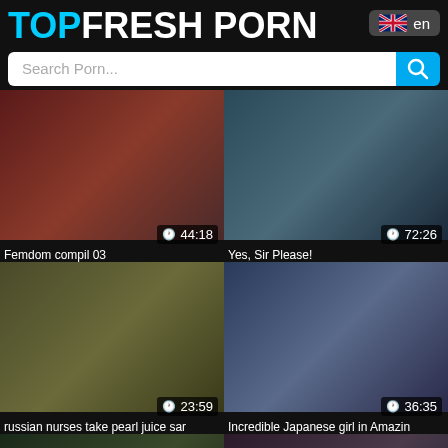TOP FRESH PORN
Search Porn...
[Figure (screenshot): Video thumbnail - Femdom compil 03, duration 44:18]
Femdom compil 03
[Figure (screenshot): Video thumbnail - Yes, Sir Please!, duration 72:26]
Yes, Sir Please!
[Figure (screenshot): Video thumbnail - russian nurses take pearl juice sar, duration 23:59]
russian nurses take pearl juice sar
[Figure (screenshot): Video thumbnail - Incredible Japanese girl in Amazin, duration 36:35]
Incredible Japanese girl in Amazin
[Figure (screenshot): Video thumbnail - partial, bottom left, no title visible]
[Figure (screenshot): Video thumbnail - partial, bottom right, no title visible]